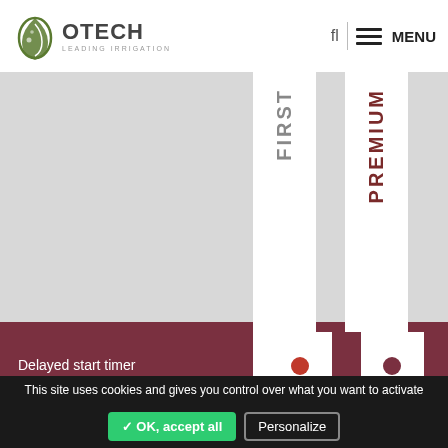OTECH - LEADING IRRIGATION | MENU
| Feature | FIRST | PREMIUM |
| --- | --- | --- |
| Delayed start timer | ● | ● |
| Automatic inversion with inversion device on tower | ● | ● |
| Automatic inversion with inversion device on pivot point | ● | ● |
| Automatic inversion with wide angle inversion device at pivot point | ● | ● |
| Double speed timer - forward/backward | ● | ● |
This site uses cookies and gives you control over what you want to activate
✓ OK, accept all
Personalize